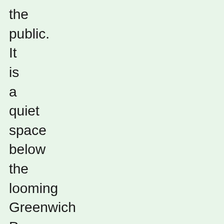the public. It is a quiet space below the looming Greenwich Power Station. After slipping inland, the Thames Path regains the river by the